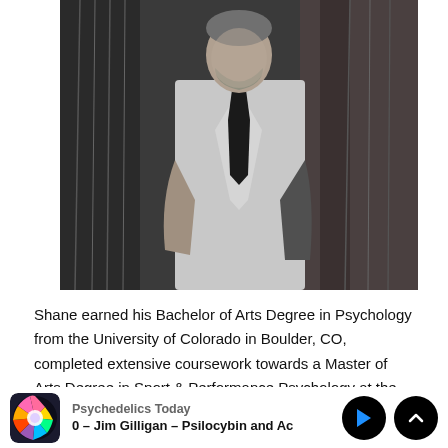[Figure (photo): Black and white photo of a man in a light-colored suit jacket and black tie, standing among willow tree branches]
Shane earned his Bachelor of Arts Degree in Psychology from the University of Colorado in Boulder, CO, completed extensive coursework towards a Master of Arts Degree in Sport & Performance Psychology at the University of Denver, and earned his Master of Arts
[Figure (screenshot): Podcast player bar showing Psychedelics Today logo, episode title '0 – Jim Gilligan – Psilocybin and Ac', play button and up chevron button]